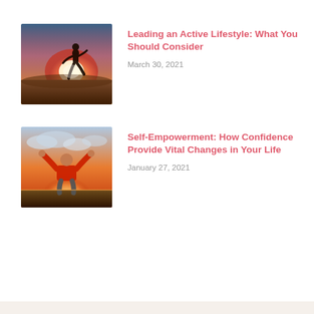[Figure (photo): Person running on a road at sunset/sunrise, silhouette against bright light]
Leading an Active Lifestyle: What You Should Consider
March 30, 2021
[Figure (photo): Person with arms raised wide, viewed from behind, standing at sunset with orange sky]
Self-Empowerment: How Confidence Provide Vital Changes in Your Life
January 27, 2021